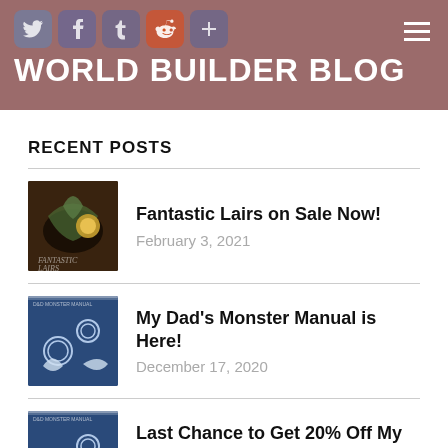WORLD BUILDER BLOG
RECENT POSTS
Fantastic Lairs on Sale Now! — February 3, 2021
My Dad's Monster Manual is Here! — December 17, 2020
Last Chance to Get 20% Off My Dad's Monster Manual — December 10, 2020